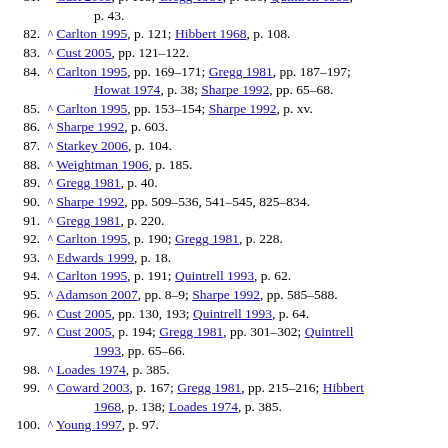^ Cust 2005, p. 118; Gregg 1981, p. 186; Quintrell 1993, p. 43.
^ Carlton 1995, p. 121; Hibbert 1968, p. 108.
^ Cust 2005, pp. 121–122.
^ Carlton 1995, pp. 169–171; Gregg 1981, pp. 187–197; Howat 1974, p. 38; Sharpe 1992, pp. 65–68.
^ Carlton 1995, pp. 153–154; Sharpe 1992, p. xv.
^ Sharpe 1992, p. 603.
^ Starkey 2006, p. 104.
^ Weightman 1906, p. 185.
^ Gregg 1981, p. 40.
^ Sharpe 1992, pp. 509–536, 541–545, 825–834.
^ Gregg 1981, p. 220.
^ Carlton 1995, p. 190; Gregg 1981, p. 228.
^ Edwards 1999, p. 18.
^ Carlton 1995, p. 191; Quintrell 1993, p. 62.
^ Adamson 2007, pp. 8–9; Sharpe 1992, pp. 585–588.
^ Cust 2005, pp. 130, 193; Quintrell 1993, p. 64.
^ Cust 2005, p. 194; Gregg 1981, pp. 301–302; Quintrell 1993, pp. 65–66.
^ Loades 1974, p. 385.
^ Coward 2003, p. 167; Gregg 1981, pp. 215–216; Hibbert 1968, p. 138; Loades 1974, p. 385.
^ Young 1997, p. 97.